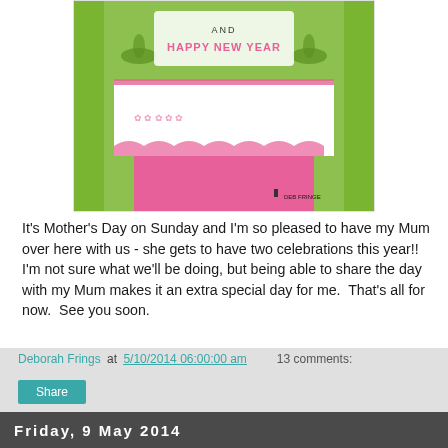[Figure (illustration): Partial view of a decorative greeting card with green background, pink and white scalloped layers, floral motifs, and text reading 'AND HAPPY NEW YEAR'. A small logo reading 'DEB FRINGE' is visible in the bottom right corner of the card image.]
It's Mother's Day on Sunday and I'm so pleased to have my Mum over here with us - she gets to have two celebrations this year!!  I'm not sure what we'll be doing, but being able to share the day with my Mum makes it an extra special day for me.  That's all for now.  See you soon.
[Figure (illustration): Handwritten cursive signature reading 'Deborah' in dark navy blue ink, inside a white box with a light grey border.]
Deborah Frings at 5/10/2014 06:00:00 am     13 comments:
Share
Friday, 9 May 2014